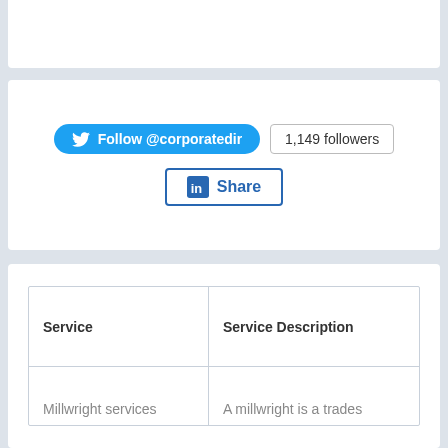[Figure (screenshot): Twitter Follow button for @corporatedir and follower count badge showing 1,149 followers, plus a LinkedIn Share button below]
| Service | Service Description |
| --- | --- |
| Millwright services | A millwright is a trades |